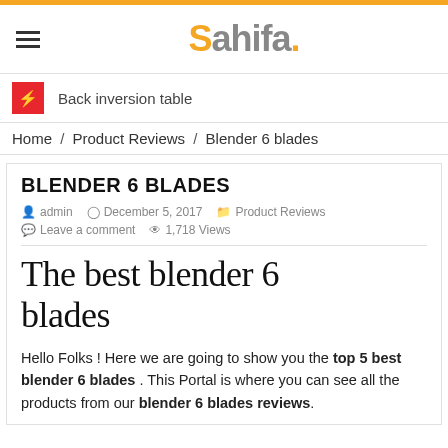Sahifa.
Back inversion table
Home / Product Reviews / Blender 6 blades
BLENDER 6 BLADES
admin   December 5, 2017   Product Reviews   Leave a comment   1,718 Views
The best blender 6 blades
Hello Folks ! Here we are going to show you the top 5 best blender 6 blades . This Portal is where you can see all the products from our blender 6 blades reviews.